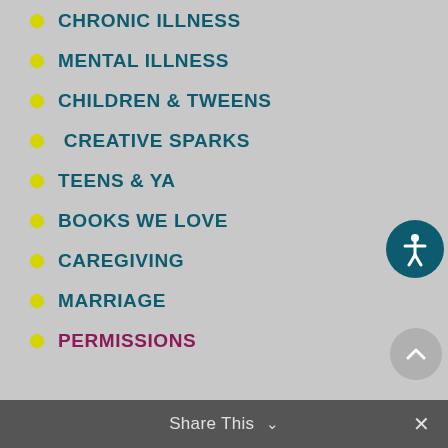CHRONIC ILLNESS
MENTAL ILLNESS
CHILDREN & TWEENS
CREATIVE SPARKS
TEENS & YA
BOOKS WE LOVE
CAREGIVING
MARRIAGE
PERMISSIONS
Share This ∨  ✕